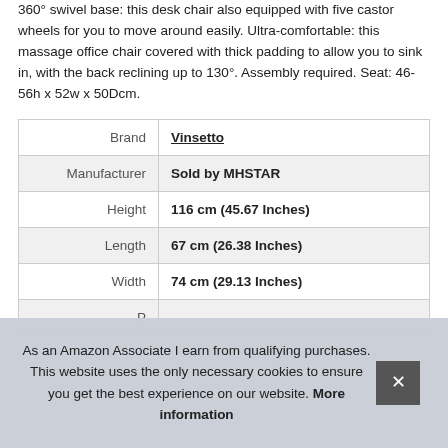360° swivel base: this desk chair also equipped with five castor wheels for you to move around easily. Ultra-comfortable: this massage office chair covered with thick padding to allow you to sink in, with the back reclining up to 130°. Assembly required. Seat: 46-56h x 52w x 50Dcm.
|  |  |
| --- | --- |
| Brand | Vinsetto |
| Manufacturer | Sold by MHSTAR |
| Height | 116 cm (45.67 Inches) |
| Length | 67 cm (26.38 Inches) |
| Width | 74 cm (29.13 Inches) |
| P |  |
As an Amazon Associate I earn from qualifying purchases. This website uses the only necessary cookies to ensure you get the best experience on our website. More information